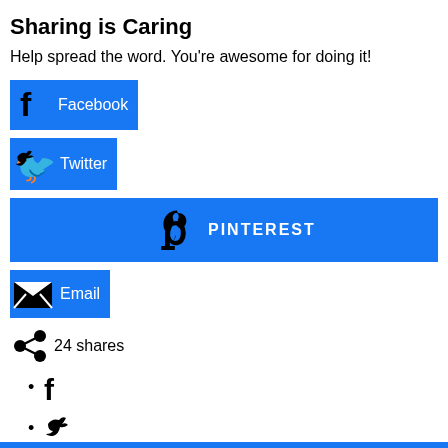Sharing is Caring
Help spread the word. You're awesome for doing it!
[Figure (other): Facebook share button with blue background and Facebook 'f' icon]
[Figure (other): Twitter share button with blue background and Twitter bird icon]
[Figure (other): Pinterest share bar with blue background, Pinterest P icon, and text PINTEREST]
[Figure (other): Email share button with blue background and envelope icon]
24 shares
[Figure (other): Share icon followed by 24 shares text]
[Figure (other): Bullet with Facebook f icon]
[Figure (other): Bullet with Twitter bird icon]